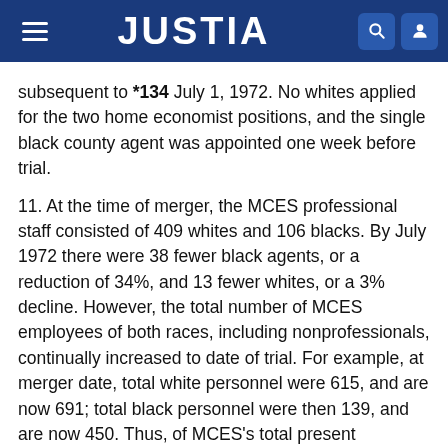JUSTIA
subsequent to *134 July 1, 1972. No whites applied for the two home economist positions, and the single black county agent was appointed one week before trial.
11. At the time of merger, the MCES professional staff consisted of 409 whites and 106 blacks. By July 1972 there were 38 fewer black agents, or a reduction of 34%, and 13 fewer whites, or a 3% decline. However, the total number of MCES employees of both races, including nonprofessionals, continually increased to date of trial. For example, at merger date, total white personnel were 615, and are now 691; total black personnel were then 139, and are now 450. Thus, of MCES's total present employees, 62% are white and 38% are black, which parallels the state's 1970 census racial ratio (63% white and 37% black). These personnel fluctuations are not peculiar to Mississippi's extension program but followed